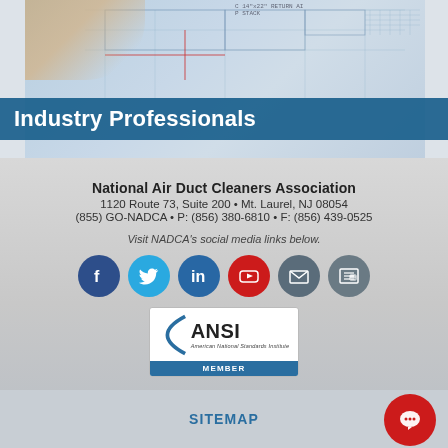[Figure (photo): Blueprint/engineering drawing with a hand visible, overlaid with 'Industry Professionals' title bar in dark teal blue]
Industry Professionals
National Air Duct Cleaners Association
1120 Route 73, Suite 200 • Mt. Laurel, NJ 08054
(855) GO-NADCA • P: (856) 380-6810 • F: (856) 439-0525
Visit NADCA's social media links below.
[Figure (logo): Social media icons: Facebook, Twitter, LinkedIn, YouTube, Email, Newsletter]
[Figure (logo): ANSI - American National Standards Institute MEMBER badge]
SITEMAP